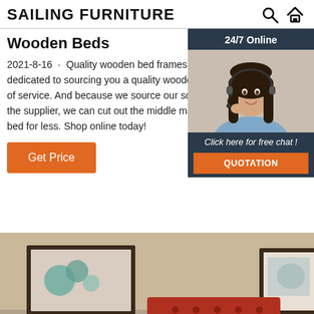SAILING FURNITURE
Wooden Beds
2021-8-16 · Quality wooden bed frames. Happy Beds is dedicated to sourcing you a quality wooden bed that gives you y of service. And because we source our solid wood bec direct from the supplier, we can cut out the middle ma you with the perfect bed for less. Shop online today!
Get Price
[Figure (photo): Chat widget with a woman wearing a headset, 24/7 Online label, Click here for free chat! text, and QUOTATION button]
[Figure (photo): Bedroom scene with beige walls, framed pictures, and a red tufted headboard]